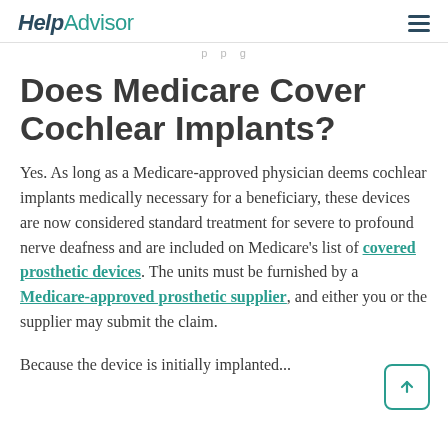HelpAdvisor
p p g
Does Medicare Cover Cochlear Implants?
Yes. As long as a Medicare-approved physician deems cochlear implants medically necessary for a beneficiary, these devices are now considered standard treatment for severe to profound nerve deafness and are included on Medicare's list of covered prosthetic devices. The units must be furnished by a Medicare-approved prosthetic supplier, and either you or the supplier may submit the claim.
Because the device is initially implanted...